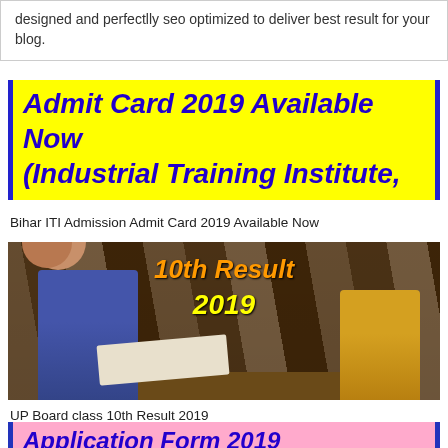designed and perfectlly seo optimized to deliver best result for your blog.
Admit Card 2019 Available Now (Industrial Training Institute,
Bihar ITI Admission Admit Card 2019 Available Now
[Figure (photo): Students writing exam in a classroom, with overlay text '10th Result 2019' in orange and yellow]
UP Board class 10th Result 2019
Application Form 2019